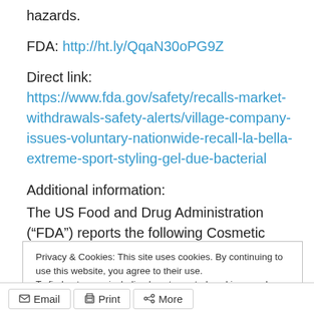hazards.
FDA: http://ht.ly/QqaN30oPG9Z
Direct link: https://www.fda.gov/safety/recalls-market-withdrawals-safety-alerts/village-company-issues-voluntary-nationwide-recall-la-bella-extreme-sport-styling-gel-due-bacterial
Additional information:
The US Food and Drug Administration (“FDA”) reports the following Cosmetic products are subject to this recall:
Privacy & Cookies: This site uses cookies. By continuing to use this website, you agree to their use.
To find out more, including how to control cookies, see here: Our Cookie Policy
Close and accept
Email  Print  More